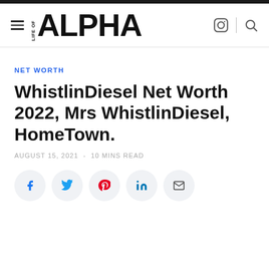LIFE OF ALPHA
NET WORTH
WhistlinDiesel Net Worth 2022, Mrs WhistlinDiesel, HomeTown.
AUGUST 15, 2021 - 10 MINS READ